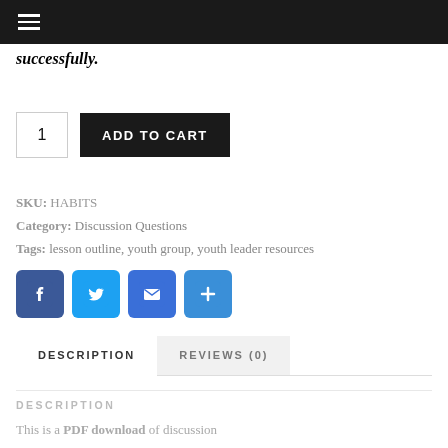≡ (hamburger menu)
successfully.
1  ADD TO CART
SKU: HABITS
Category: Discussion Questions
Tags: lesson outline, youth group, youth leader resources
[Figure (infographic): Social share icons: Facebook (blue), Twitter (light blue), Email (blue envelope), Share/Plus (blue)]
DESCRIPTION   REVIEWS (0)
DESCRIPTION
This is a PDF download of discussion